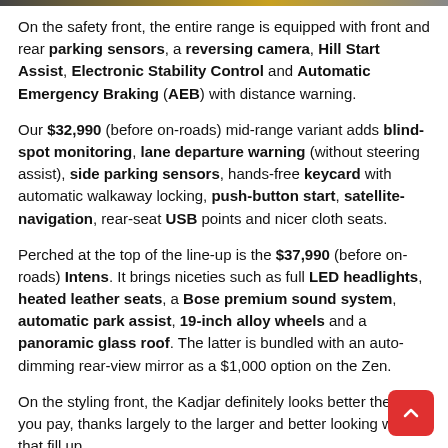On the safety front, the entire range is equipped with front and rear parking sensors, a reversing camera, Hill Start Assist, Electronic Stability Control and Automatic Emergency Braking (AEB) with distance warning.
Our $32,990 (before on-roads) mid-range variant adds blind-spot monitoring, lane departure warning (without steering assist), side parking sensors, hands-free keycard with automatic walkaway locking, push-button start, satellite-navigation, rear-seat USB points and nicer cloth seats.
Perched at the top of the line-up is the $37,990 (before on-roads) Intens. It brings niceties such as full LED headlights, heated leather seats, a Bose premium sound system, automatic park assist, 19-inch alloy wheels and a panoramic glass roof. The latter is bundled with an auto-dimming rear-view mirror as a $1,000 option on the Zen.
On the styling front, the Kadjar definitely looks better the more you pay, thanks largely to the larger and better looking wheels that fill up